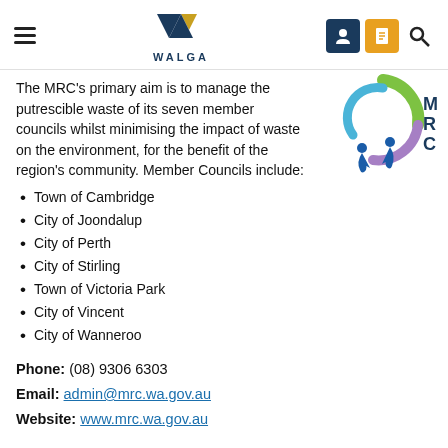WALGA header with navigation icons
The MRC's primary aim is to manage the putrescible waste of its seven member councils whilst minimising the impact of waste on the environment, for the benefit of the region's community. Member Councils include:
Town of Cambridge
City of Joondalup
City of Perth
City of Stirling
Town of Victoria Park
City of Vincent
City of Wanneroo
Phone: (08) 9306 6303
Email: admin@mrc.wa.gov.au
Website: www.mrc.wa.gov.au